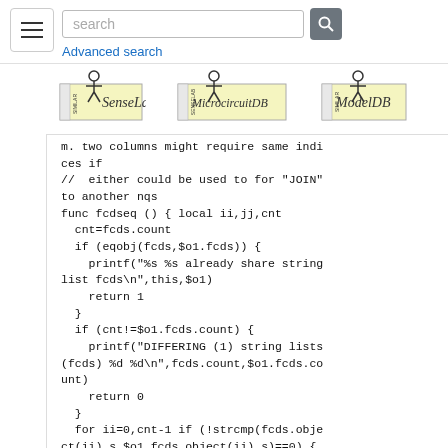search | Advanced search
[Figure (logo): SenseLab logo]
[Figure (logo): MicrocircuitDB logo]
[Figure (logo): ModelDB logo]
m. two columns might require same indices if
//  either could be used to for "JOIN" to another nqs
func fcdseq () { local ii,jj,cnt
  cnt=fcds.count
  if (eqobj(fcds,$o1.fcds)) {
    printf("%s %s already share string list fcds\n",this,$o1)
    return 1
  }
  if (cnt!=$o1.fcds.count) {
    printf("DIFFERING (1) string lists (fcds) %d %d\n",fcds.count,$o1.fcds.count)
    return 0
  }
  for ii=0,cnt-1 if (!strcmp(fcds.object(ii).s,$o1.fcds.object(ii).s)==0) {
    printf("DIFFERING (2) string lists